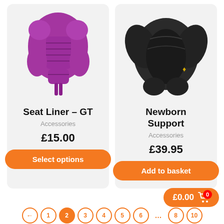[Figure (photo): Purple padded seat liner accessory for GT stroller]
Seat Liner – GT
Accessories
£15.00
Select options
[Figure (photo): Black newborn support insert/cocoon for stroller]
Newborn Support
Accessories
£39.95
Add to basket
£0.00
← 1 2 3 4 5 6 … 8 10